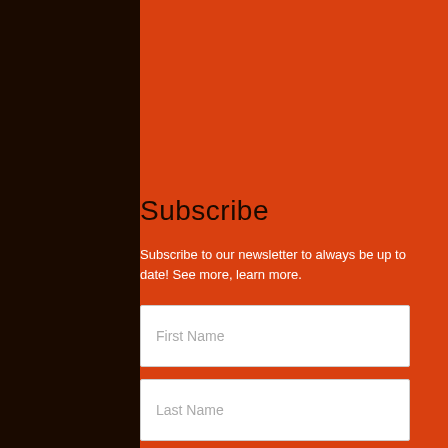Subscribe
Subscribe to our newsletter to always be up to date! See more, learn more.
First Name
Last Name
Email